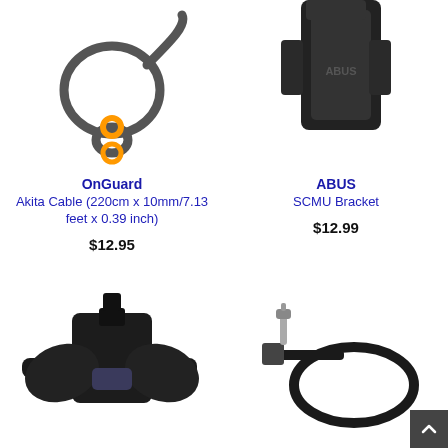[Figure (photo): OnGuard Akita cable lock coiled with orange accent, top-left product]
OnGuard
Akita Cable (220cm x 10mm/7.13 feet x 0.39 inch)
$12.95
[Figure (photo): ABUS SCMU Bracket black mounting bracket, top-right product]
ABUS
SCMU Bracket
$12.99
[Figure (photo): Black ABUS bracket/holder mounted on strap, bottom-left product]
[Figure (photo): Black cable tie with metal locking pin, bottom-right product]